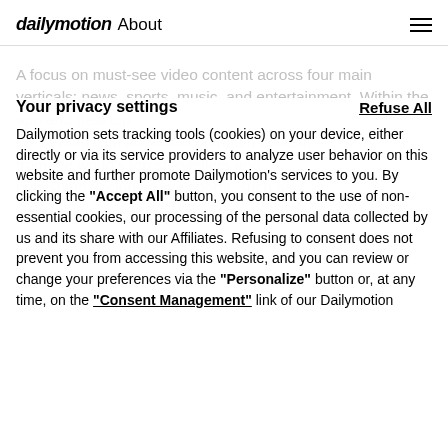dailymotion About
A focus on must-see video content across four main verticals: news, sports, music, and entertainment. Within the app and desktop, co-viewing with access to premium content from the world's top storytellers and publishers, including live sports, such as
Your privacy settings
Refuse All
Dailymotion sets tracking tools (cookies) on your device, either directly or via its service providers to analyze user behavior on this website and further promote Dailymotion's services to you. By clicking the "Accept All" button, you consent to the use of non-essential cookies, our processing of the personal data collected by us and its share with our Affiliates. Refusing to consent does not prevent you from accessing this website, and you can review or change your preferences via the "Personalize" button or, at any time, on the "Consent Management" link of our Dailymotion